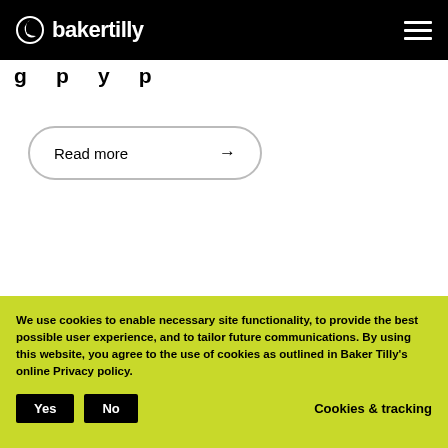bakertilly
Read more →
[Figure (photo): Partial view of an office or architectural interior, with dark horizontal bars visible]
We use cookies to enable necessary site functionality, to provide the best possible user experience, and to tailor future communications. By using this website, you agree to the use of cookies as outlined in Baker Tilly's online Privacy policy.
Yes   No   Cookies & tracking